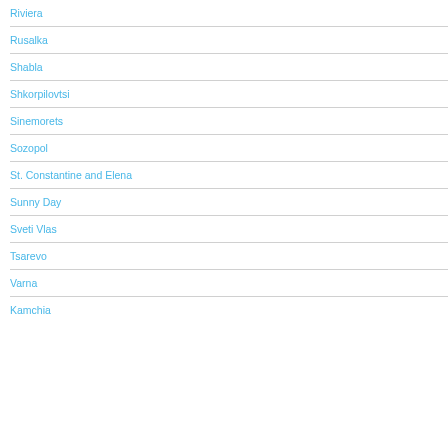Riviera
Rusalka
Shabla
Shkorpilovtsi
Sinemorets
Sozopol
St. Constantine and Elena
Sunny Day
Sveti Vlas
Tsarevo
Varna
Kamchia